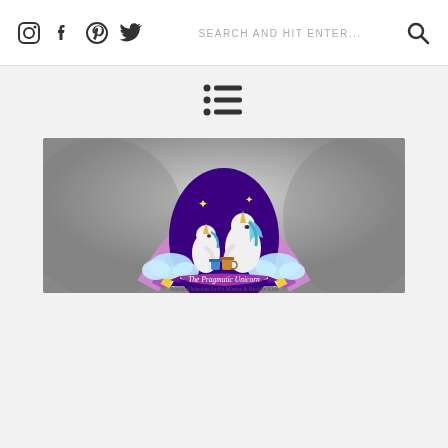[Figure (screenshot): Top navigation bar with social media icons (Instagram, Facebook, Pinterest, Twitter), a search bar with placeholder text 'SEARCH AND HIT ENTER...', and a search magnifier icon]
[Figure (illustration): A list/menu icon made of three rows each with a bullet dot on left and two horizontal lines on right]
[Figure (logo): The Pragmatic Unicorn logo: two cartoon unicorns (adult and child) under a rainbow arch on a dark purple background, with text 'The Pragmatic Unicorn' on a banner and subtitle 'Practical Wisdom for Fit Mamas & Healthy Kids', set against a blurred gray background]